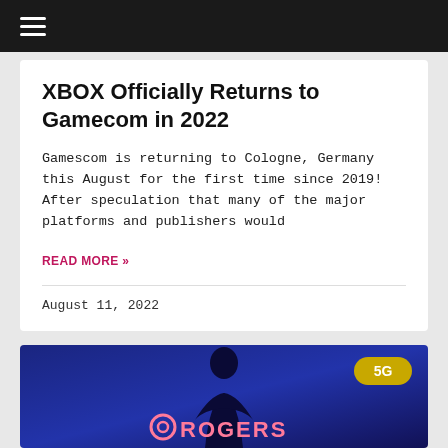≡
XBOX Officially Returns to Gamecom in 2022
Gamescom is returning to Cologne, Germany this August for the first time since 2019!  After speculation that many of the major platforms and publishers would
READ MORE »
August 11, 2022
[Figure (photo): Rogers 5G advertisement image showing a hooded figure silhouette against a blue background with a large illuminated ROGERS sign and a gold 5G badge]